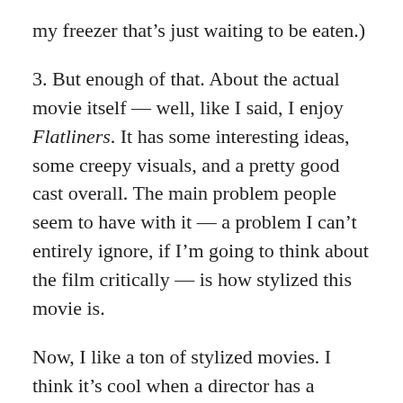my freezer that's just waiting to be eaten.)
3. But enough of that. About the actual movie itself — well, like I said, I enjoy Flatliners. It has some interesting ideas, some creepy visuals, and a pretty good cast overall. The main problem people seem to have with it — a problem I can't entirely ignore, if I'm going to think about the film critically — is how stylized this movie is.
Now, I like a ton of stylized movies. I think it's cool when a director has a particular aesthetic — as long as that aesthetic doesn't vomit all over the screen and drown the actual story in flash and sparkle. But when the majority of your movie takes place in a hospital, it would probably help if the one in your film actually resembled, you know, a hospital and not a gothic old church with